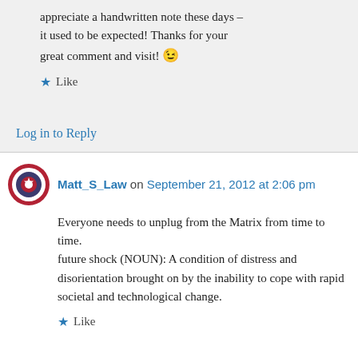appreciate a handwritten note these days – it used to be expected! Thanks for your great comment and visit! 😉
★ Like
Log in to Reply
Matt_S_Law on September 21, 2012 at 2:06 pm
Everyone needs to unplug from the Matrix from time to time.
future shock (NOUN): A condition of distress and disorientation brought on by the inability to cope with rapid societal and technological change.
★ Like